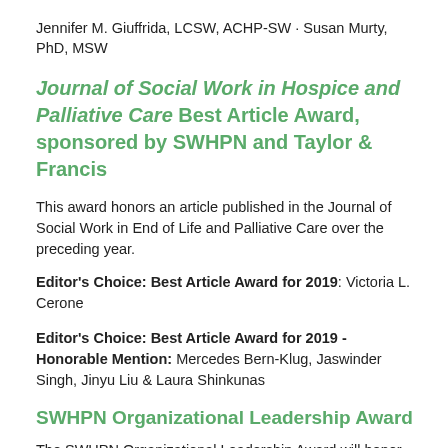Jennifer M. Giuffrida, LCSW, ACHP-SW · Susan Murty, PhD, MSW
Journal of Social Work in Hospice and Palliative Care Best Article Award, sponsored by SWHPN and Taylor & Francis
This award honors an article published in the Journal of Social Work in End of Life and Palliative Care over the preceding year.
Editor's Choice: Best Article Award for 2019: Victoria L. Cerone
Editor's Choice: Best Article Award for 2019 - Honorable Mention: Mercedes Bern-Klug, Jaswinder Singh, Jinyu Liu & Laura Shinkunas
SWHPN Organizational Leadership Award
The SWHPN Organizational Leadership Award will honor